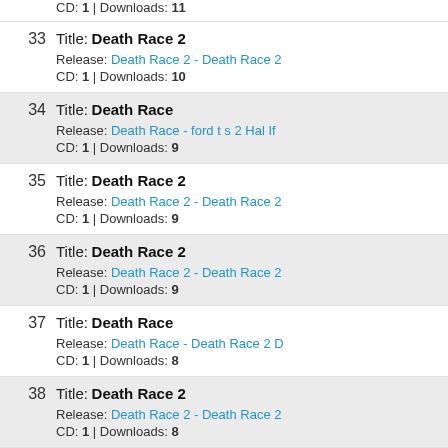CD: 1 | Downloads: 11
33 Title: Death Race 2 | Release: Death Race 2 - Death Race 2 | CD: 1 | Downloads: 10
34 Title: Death Race | Release: Death Race - ford t s 2 Hal If | CD: 1 | Downloads: 9
35 Title: Death Race 2 | Release: Death Race 2 - Death Race 2 | CD: 1 | Downloads: 9
36 Title: Death Race 2 | Release: Death Race 2 - Death Race 2 | CD: 1 | Downloads: 9
37 Title: Death Race | Release: Death Race - Death Race 2 D | CD: 1 | Downloads: 8
38 Title: Death Race 2 | Release: Death Race 2 - Death Race 2 | CD: 1 | Downloads: 8